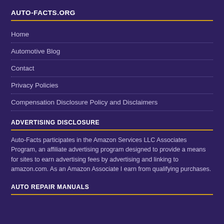AUTO-FACTS.ORG
Home
Automotive Blog
Contact
Privacy Policies
Compensation Disclosure Policy and Disclaimers
ADVERTISING DISCLOSURE
Auto-Facts participates in the Amazon Services LLC Associates Program, an affiliate advertising program designed to provide a means for sites to earn advertising fees by advertising and linking to amazon.com. As an Amazon Associate I earn from qualifying purchases.
AUTO REPAIR MANUALS